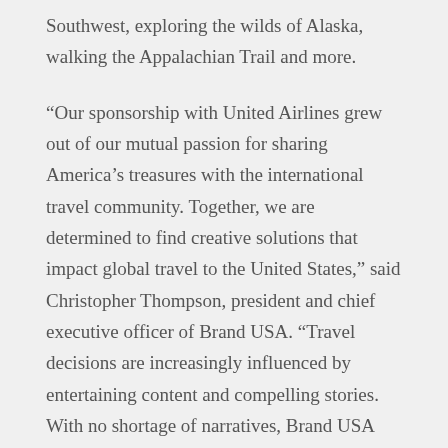Southwest, exploring the wilds of Alaska, walking the Appalachian Trail and more.
“Our sponsorship with United Airlines grew out of our mutual passion for sharing America’s treasures with the international travel community. Together, we are determined to find creative solutions that impact global travel to the United States,” said Christopher Thompson, president and chief executive officer of Brand USA. “Travel decisions are increasingly influenced by entertaining content and compelling stories. With no shortage of narratives, Brand USA and United Airlines have the right resources and marketing innovation to elevate the position of the U.S. in the worldwide travel